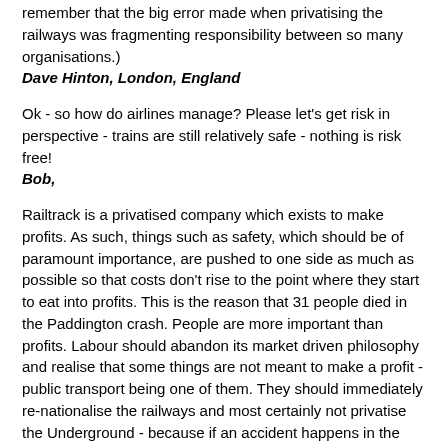remember that the big error made when privatising the railways was fragmenting responsibility between so many organisations.)
Dave Hinton, London, England
Ok - so how do airlines manage? Please let's get risk in perspective - trains are still relatively safe - nothing is risk free!
Bob,
Railtrack is a privatised company which exists to make profits. As such, things such as safety, which should be of paramount importance, are pushed to one side as much as possible so that costs don't rise to the point where they start to eat into profits. This is the reason that 31 people died in the Paddington crash. People are more important than profits. Labour should abandon its market driven philosophy and realise that some things are not meant to make a profit - public transport being one of them. They should immediately re-nationalise the railways and most certainly not privatise the Underground - because if an accident happens in the Underground it could be 100s of people dead, not just 31.
Grainne Phillips, Ireland
The Government, Railtrack, the previous Government, the profit motive - hang on a minute, none of the above are responsible for running a RED signal. This is like blaming a construction company for a motorway